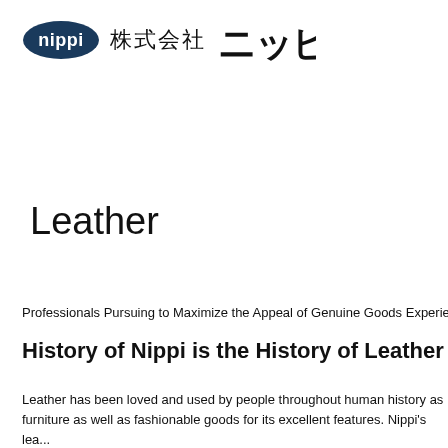[Figure (logo): Nippi company logo: oval dark blue badge with 'nippi' text in white, followed by Japanese characters '株式会社' and stylized katakana 'ニッピ' in bold black]
Leather
Professionals Pursuing to Maximize the Appeal of Genuine Goods Experie...
History of Nippi is the History of Leather
Leather has been loved and used by people throughout human history as furniture as well as fashionable goods for its excellent features. Nippi's lea... industry since its foundation.
In 2007, Nippi-Fujita, Incorporated was established by reorganizing our lea...